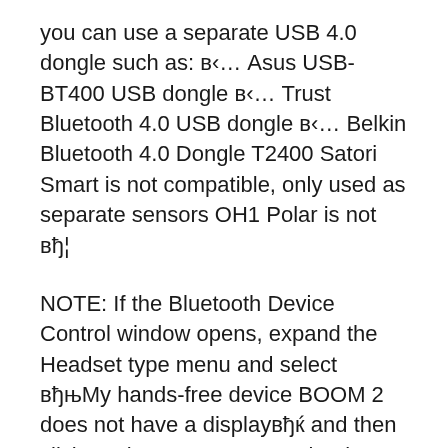you can use a separate USB 4.0 dongle such as: в‹… Asus USB-BT400 USB dongle в‹… Trust Bluetooth 4.0 USB dongle в‹… Belkin Bluetooth 4.0 Dongle T2400 Satori Smart is not compatible, only used as separate sensors OH1 Polar is not вђ¦
NOTE: If the Bluetooth Device Control window opens, expand the Headset type menu and select вђњMy hands-free device BOOM 2 does not have a displayвђќ and then click Apply. Once your speaker is paired and connected, youвђ™ll have to select the BOOM 2 as the default playback device in the Windows Sound settings. HereвЂ™s how: Open your Control Panel. Luckily